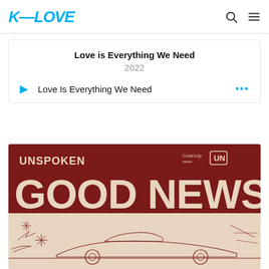K-LOVE
Love is Everything We Need
2022
Love Is Everything We Need
[Figure (illustration): Album cover for 'Good News' by Unspoken. Dark red/maroon background with large white vintage-style text reading 'GOOD NEWS' and 'UNSPOKEN' above it. Bottom half shows a retro line-art illustration of a futuristic vehicle/spaceship scene on a lighter background. Centricity Music and UN logos in top right.]